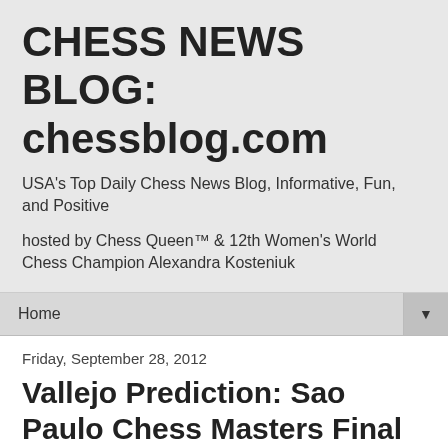CHESS NEWS BLOG: chessblog.com
USA's Top Daily Chess News Blog, Informative, Fun, and Positive
hosted by Chess Queen™ & 12th Women's World Chess Champion Alexandra Kosteniuk
Home ▼
Friday, September 28, 2012
Vallejo Prediction: Sao Paulo Chess Masters Final Results Will be Close
Chess blog for latest chess news and chess trivia (c) Alexandra Kosteniuk, 2012
Hi everyone,